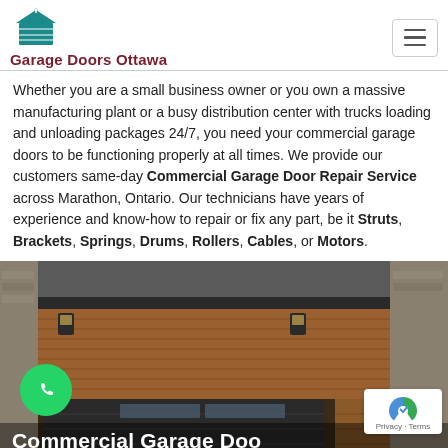[Figure (logo): Garage Doors Ottawa logo with teal garage door icon and dark red text]
Whether you are a small business owner or you own a massive manufacturing plant or a busy distribution center with trucks loading and unloading packages 24/7, you need your commercial garage doors to be functioning properly at all times. We provide our customers same-day Commercial Garage Door Repair Service across Marathon, Ontario. Our technicians have years of experience and know-how to repair or fix any part, be it Struts, Brackets, Springs, Drums, Rollers, Cables, or Motors.
[Figure (photo): Modern house with wood-paneled garage doors, a WhatsApp call button overlay at bottom left, reCAPTCHA badge at bottom right, and 'Commercial Garage Doo' text overlay at the bottom]